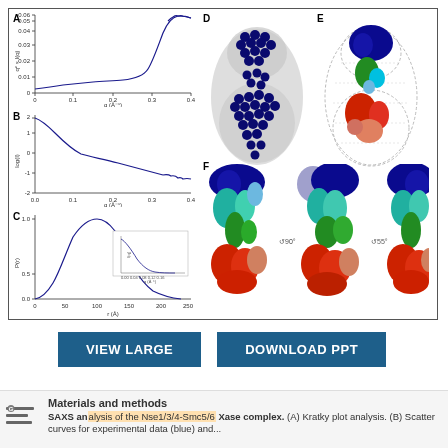[Figure (other): Composite scientific figure panel with SAXS analysis plots (A: Kratky plot, B: Scatter curves log scale, C: P(r) pair distance distribution) and structural biology images (D: ab initio bead model, E: atomic model in envelope, F: three rotational views of the complex at 90 and 55 degree rotations showing subunit domains in multiple colors)]
[Figure (other): Two buttons: VIEW LARGE (teal/dark blue) and DOWNLOAD PPT (teal/dark blue)]
SAXS analysis of the Nse1/3/4-Smc5/6 complex. (A) Kratky plot analysis. (B) Scatter curves for experimental data (blue) and...